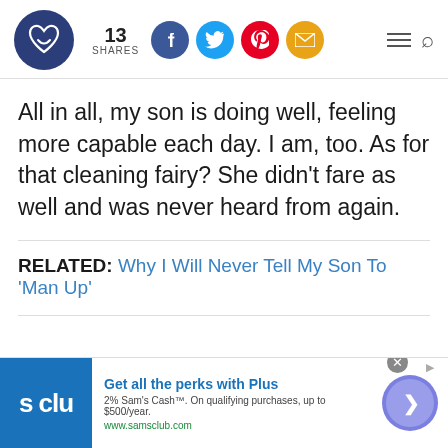[Figure (screenshot): Website header with logo (dark blue circle with heart/infinity icon), share count showing 13 SHARES, social media buttons (Facebook blue, Twitter light blue, Pinterest red, Email/envelope yellow), hamburger menu icon and search icon on the right]
All in all, my son is doing well, feeling more capable each day. I am, too. As for that cleaning fairy? She didn't fare as well and was never heard from again.
RELATED: Why I Will Never Tell My Son To 'Man Up'
[Figure (screenshot): Advertisement banner for Sam's Club Plus: logo 's clu' in blue square, headline 'Get all the perks with Plus', subtext '2% Sam's Cash™. On qualifying purchases, up to $500/year.', URL 'www.samsclub.com', close button X, and a circular arrow/chevron button]